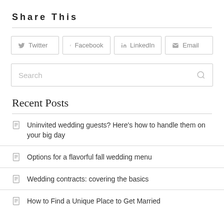Share This
[Figure (infographic): Social sharing buttons: Twitter, Facebook, LinkedIn, Email]
[Figure (infographic): Search input box with placeholder text 'Search' and magnifying glass icon]
Recent Posts
Uninvited wedding guests? Here's how to handle them on your big day
Options for a flavorful fall wedding menu
Wedding contracts: covering the basics
How to Find a Unique Place to Get Married